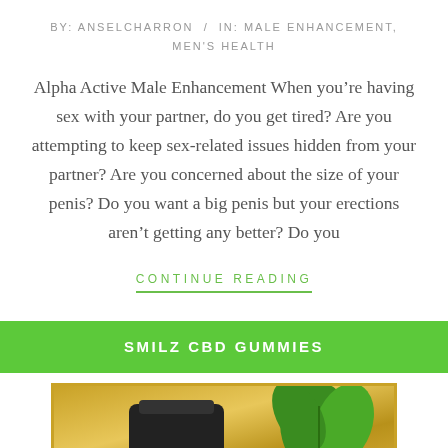BY: ANSELCHARRON / IN: MALE ENHANCEMENT, MEN'S HEALTH
Alpha Active Male Enhancement When you’re having sex with your partner, do you get tired? Are you attempting to keep sex-related issues hidden from your partner? Are you concerned about the size of your penis? Do you want a big penis but your erections aren’t getting any better? Do you
CONTINUE READING
SMILZ CBD GUMMIES
[Figure (photo): Product image showing a dark jar/container with green cannabis leaf against a gold/yellow framed background]